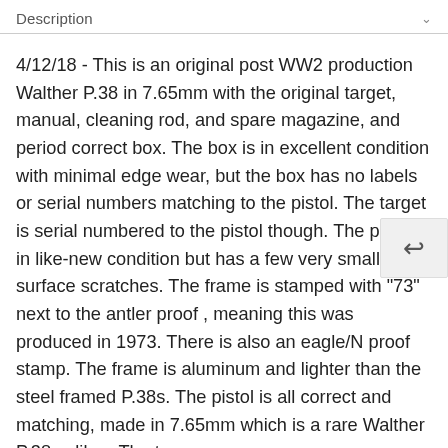Description
4/12/18 - This is an original post WW2 production Walther P.38 in 7.65mm with the original target, manual, cleaning rod, and spare magazine, and period correct box. The box is in excellent condition with minimal edge wear, but the box has no labels or serial numbers matching to the pistol. The target is serial numbered to the pistol though. The pistol is in like-new condition but has a few very small surface scratches. The frame is stamped with "73" next to the antler proof , meaning this was produced in 1973. There is also an eagle/N proof stamp. The frame is aluminum and lighter than the steel framed P.38s. The pistol is all correct and matching, made in 7.65mm which is a rare Walther P.38 caliber. The two